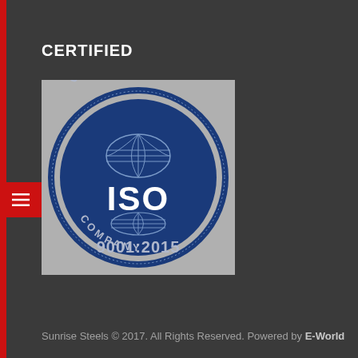CERTIFIED
[Figure (logo): ISO 9001:2015 Certified Company circular logo with globe graphic in blue and grey]
Sunrise Steels © 2017. All Rights Reserved. Powered by E-World